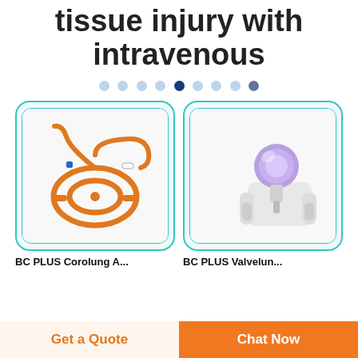tissue injury with intravenous
[Figure (other): Pagination dots indicator row, with one darker dot indicating current page]
[Figure (photo): Orange IV infusion set tubing coiled on white background]
[Figure (photo): Purple/blue syringe filter or connector attached to white plastic clip holder on white background]
BC PLUS Corolung A...
BC PLUS Valvelun...
Get a Quote
Chat Now